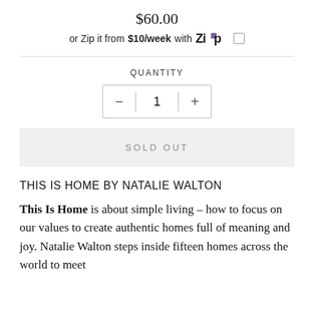$60.00
or Zip it from $10/week with Zip [info]
QUANTITY
- 1 +
SOLD OUT
THIS IS HOME BY NATALIE WALTON
This Is Home is about simple living – how to focus on our values to create authentic homes full of meaning and joy. Natalie Walton steps inside fifteen homes across the world to meet